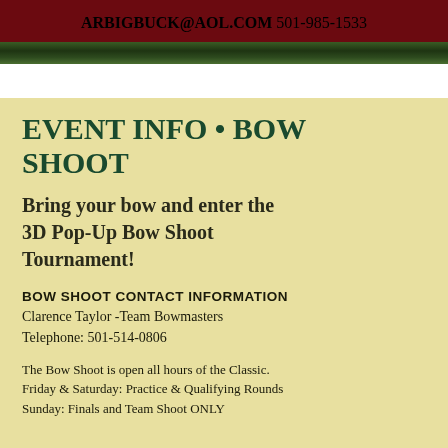ARBIGBUCK@AOL.COM
501-985-1533
EVENT INFO • BOW SHOOT
Bring your bow and enter the 3D Pop-Up Bow Shoot Tournament!
BOW SHOOT CONTACT INFORMATION
Clarence Taylor -Team Bowmasters
Telephone: 501-514-0806
The Bow Shoot is open all hours of the Classic.
Friday & Saturday: Practice & Qualifying Rounds
Sunday: Finals and Team Shoot ONLY